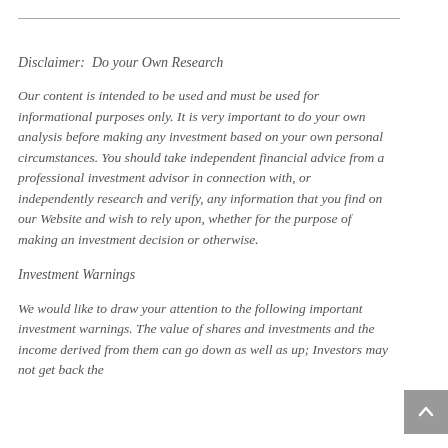Disclaimer:  Do your Own Research
Our content is intended to be used and must be used for informational purposes only. It is very important to do your own analysis before making any investment based on your own personal circumstances. You should take independent financial advice from a professional investment advisor in connection with, or independently research and verify, any information that you find on our Website and wish to rely upon, whether for the purpose of making an investment decision or otherwise.
Investment Warnings
We would like to draw your attention to the following important investment warnings. The value of shares and investments and the income derived from them can go down as well as up; Investors may not get back the